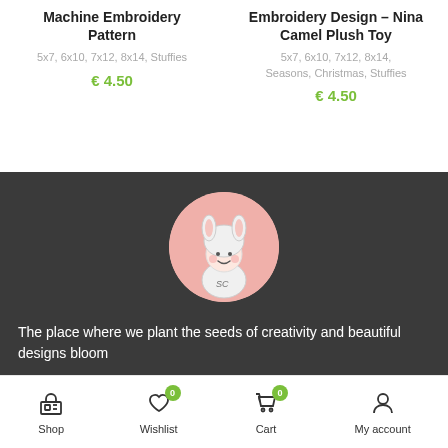Machine Embroidery Pattern
5x7, 6x10, 7x12, 8x14, Stuffies
€ 4.50
Embroidery Design – Nina Camel Plush Toy
5x7, 6x10, 7x12, 8x14, Seasons, Christmas, Stuffies
€ 4.50
[Figure (illustration): Circular logo/avatar with pink background showing a cartoon child character wearing a white bunny/rabbit costume hood, with initials SC, drawn in a simple cute style]
The place where we plant the seeds of creativity and beautiful designs bloom
Shop   Wishlist 0   Cart 0   My account